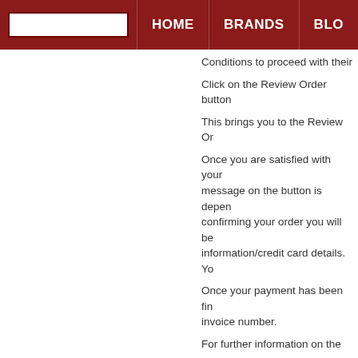HOME   BRANDS   BLO...
Conditions to proceed with their
Click on the Review Order button
This brings you to the Review Or
Once you are satisfied with your message on the button is depen confirming your order you will be information/credit card details. Yo
Once your payment has been fin invoice number.
For further information on the pa
If you require further assistance
2. Do I need an account to o
No, you do not require an accou get the most out of shopping wit enter your delivery details every online customer rewards progra
3. How do I use the Shop Au
There are two options when it